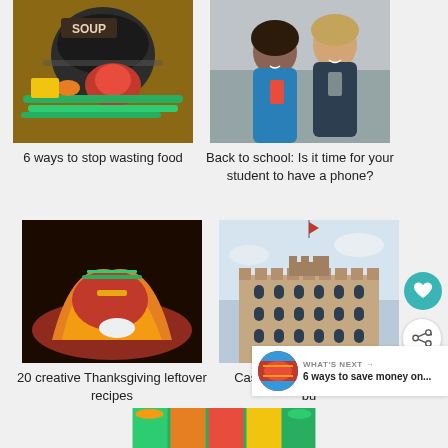[Figure (photo): Soup pot and vegetables including red peppers, green beans, carrots on a kitchen counter]
6 ways to stop wasting food
[Figure (photo): Two teenagers smiling and looking at a smartphone]
Back to school: Is it time for your student to have a phone?
[Figure (photo): Creative Thanksgiving leftover tacos with chili sauce and sour cream]
20 creative Thanksgiving leftover recipes
[Figure (photo): Large castle building with gothic architecture]
Castle vacations for every bu
[Figure (photo): Canning jars with colorful preserved vegetables]
WHAT'S NEXT → 6 ways to save money on...